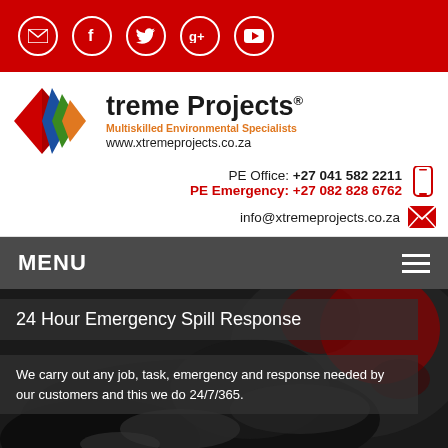Social media icons: email, facebook, twitter, google+, youtube
[Figure (logo): Xtreme Projects logo with red/blue/green X graphic, tagline 'Multiskilled Environmental Specialists', website www.xtremeprojects.co.za]
PE Office: +27 041 582 2211
PE Emergency: +27 082 828 6762
info@xtremeprojects.co.za
MENU
24 Hour Emergency Spill Response
We carry out any job, task, emergency and response needed by our customers and this we do 24/7/365.